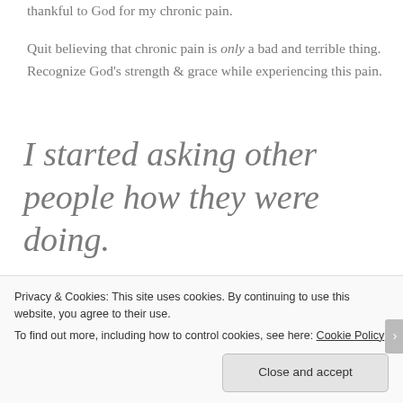thankful to God for my chronic pain.
Quit believing that chronic pain is only a bad and terrible thing. Recognize God's strength & grace while experiencing this pain.
I started asking other people how they were doing.
Strange, right? I am the one in pain! Why ask others how they are doing? Isn't it you and me that
Privacy & Cookies: This site uses cookies. By continuing to use this website, you agree to their use.
To find out more, including how to control cookies, see here: Cookie Policy
Close and accept